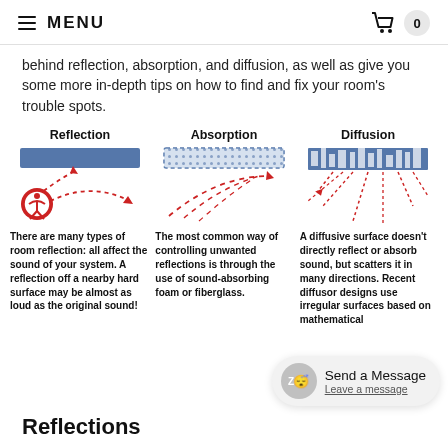MENU  0
behind reflection, absorption, and diffusion, as well as give you some more in-depth tips on how to find and fix your room's trouble spots.
[Figure (infographic): Three-column infographic showing Reflection, Absorption, and Diffusion of sound. Reflection column shows a solid blue bar with red curved arrows bouncing off. Absorption column shows a dotted/porous blue bar with red arrows dissipating. Diffusion column shows an irregular blue surface (diffusor) with red arrows scattering in many directions.]
There are many types of room reflection: all affect the sound of your system. A reflection off a nearby hard surface may be almost as loud as the original sound!
The most common way of controlling unwanted reflections is through the use of sound-absorbing foam or fiberglass.
A diffusive surface doesn't directly reflect or absorb sound, but scatters it in many directions. Recent diffusor designs use irregular surfaces based on mathematical
Reflections